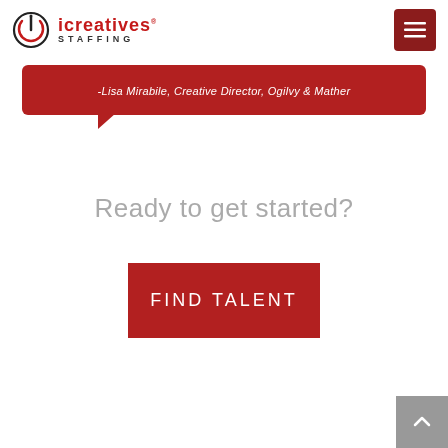iCreatives Staffing
-Lisa Mirabile, Creative Director, Ogilvy & Mather
Ready to get started?
FIND TALENT